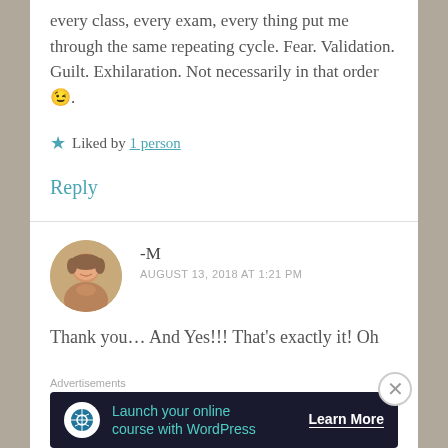every class, every exam, every thing put me through the same repeating cycle. Fear. Validation. Guilt. Exhilaration. Not necessarily in that order 😉.
★ Liked by 1 person
Reply
-M
AUGUST 13, 2018 AT 1:21 PM
Thank you… And Yes!!! That's exactly it! Oh
Advertisements
[Figure (infographic): Advertisement banner: dark background with WordPress logo icon, teal text 'Launch your online course with WordPress', white 'Learn More' button]